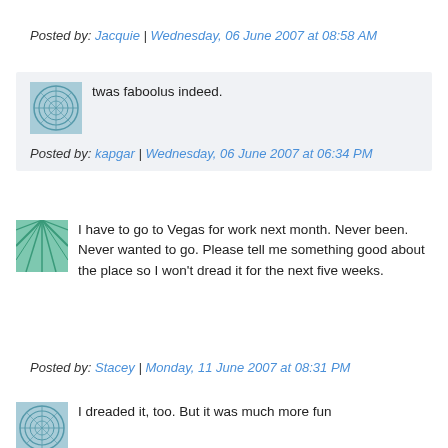Posted by: Jacquie | Wednesday, 06 June 2007 at 08:58 AM
twas faboolus indeed.
Posted by: kapgar | Wednesday, 06 June 2007 at 06:34 PM
I have to go to Vegas for work next month. Never been. Never wanted to go. Please tell me something good about the place so I won't dread it for the next five weeks.
Posted by: Stacey | Monday, 11 June 2007 at 08:31 PM
I dreaded it, too. But it was much more fun